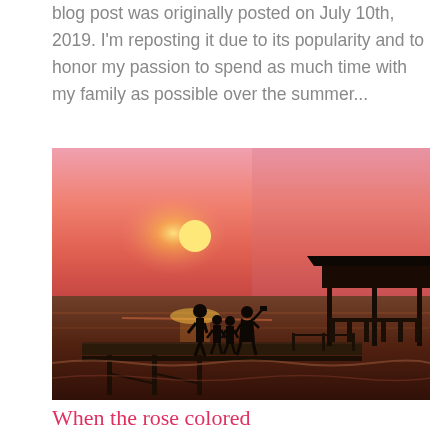blog post was originally posted on July 10th, 2019. I'm reposting it due to its popularity and to honor my passion to spend as much time with my family as possible over the summer...
[Figure (photo): A family silhouetted against a pink and orange sunset sky, standing on a wooden pier extending over water. A gazebo or hut structure is visible on the right side of the pier.]
When the rose colored